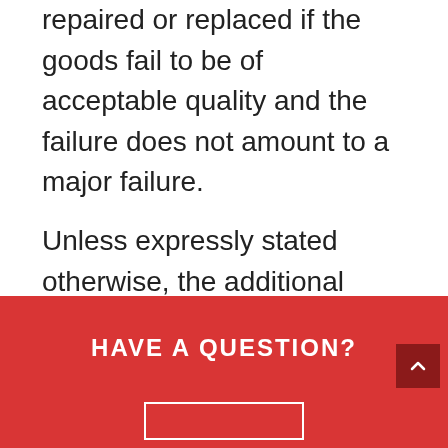repaired or replaced if the goods fail to be of acceptable quality and the failure does not amount to a major failure.
Unless expressly stated otherwise, the additional standard manufacturer warranty offered on our products is 1 year.
HAVE A QUESTION?